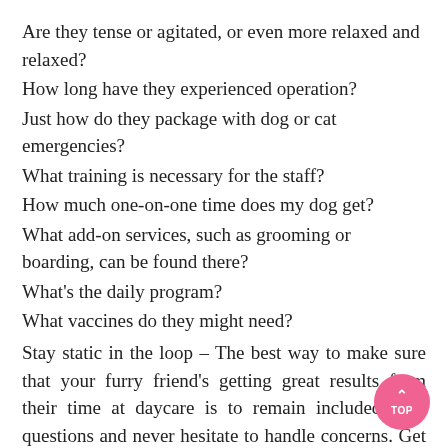Are they tense or agitated, or even more relaxed and relaxed?
How long have they experienced operation?
Just how do they package with dog or cat emergencies?
What training is necessary for the staff?
How much one-on-one time does my dog get?
What add-on services, such as grooming or boarding, can be found there?
What's the daily program?
What vaccines do they might need?
Stay static in the loop – The best way to make sure that your furry friend's getting great results from their time at daycare is to remain included. Ask questions and never hesitate to handle concerns. Get on their mailing list and follow their communal media, so you are abreast of any reports or revisions. Give reviews and stay aware of any changes in your pet's doggie daycare